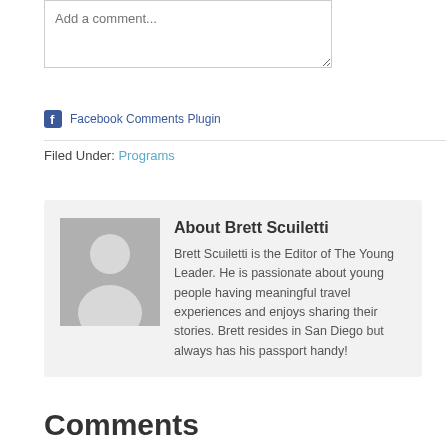Add a comment...
Facebook Comments Plugin
Filed Under: Programs
About Brett Scuiletti
Brett Scuiletti is the Editor of The Young Leader. He is passionate about young people having meaningful travel experiences and enjoys sharing their stories. Brett resides in San Diego but always has his passport handy!
Comments